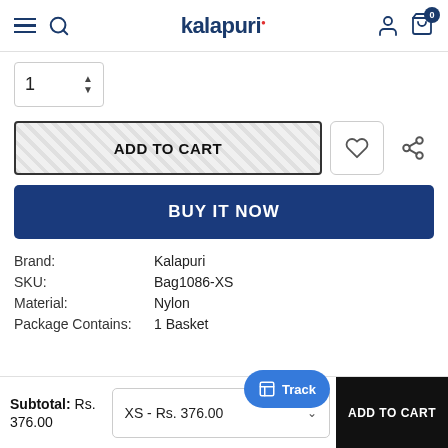kalapuri
1
ADD TO CART
BUY IT NOW
Brand: Kalapuri
SKU: Bag1086-XS
Material: Nylon
Package Contains: 1 Basket
Subtotal: Rs. 376.00
XS - Rs. 376.00
Track
ADD TO CART